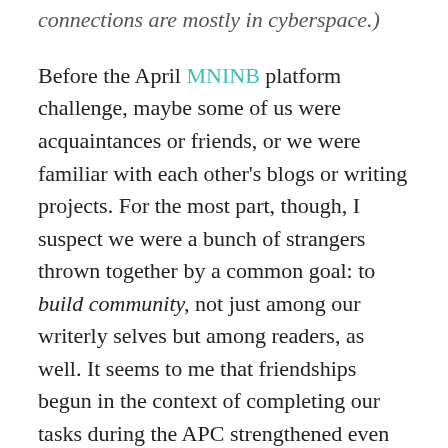connections are mostly in cyberspace.)
Before the April MNINB platform challenge, maybe some of us were acquaintances or friends, or we were familiar with each other's blogs or writing projects. For the most part, though, I suspect we were a bunch of strangers thrown together by a common goal: to build community, not just among our writerly selves but among readers, as well. It seems to me that friendships begun in the context of completing our tasks during the APC strengthened even after the challenge ended. We continue to cheer each other on.
As we share, we learn more about each other. And as we learn, we share on a deeper level.